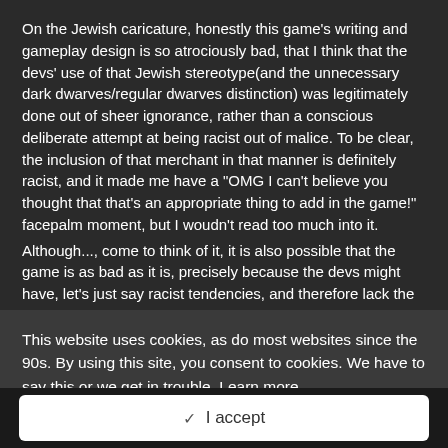On the Jewish caricature, honestly this game's writing and gameplay design is so atrociously bad, that I think that the devs' use of that Jewish stereotype(and the unnecessary dark dwarves/regular dwarves distinction) was legitimately done out of sheer ignorance, rather than a conscious deliberate attempt at being racist out of malice. To be clear, the inclusion of that merchant in that manner is definitely racist, and it made me have a "OMG I can't believe you thought that that's an appropriate thing to add in the game!" facepalm moment, but I woudn't read too much into it.
Although..., come to think of it, it is also possible that the game is as bad as it is, precisely because the devs might have, let's just say racist tendencies, and therefore lack the skill to write a complex well-presented plot.
I'm inclined to lean towards the former hypothesis due to the sheer scale of incompetence on display, but it is possible that it
This website uses cookies, as do most websites since the 90s. By using this site, you consent to cookies. We have to say this or we get in trouble. Learn more.
✓  I accept